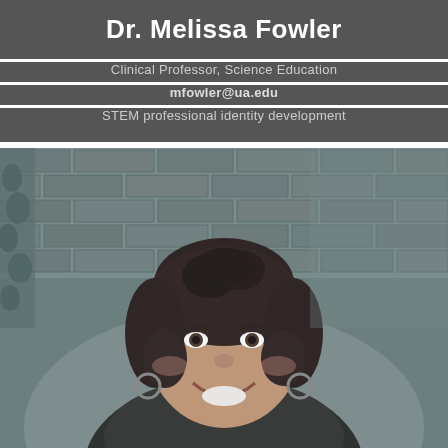Dr. Melissa Fowler
Clinical Professor, Science Education
mfowler@ua.edu
STEM professional identity development
[Figure (photo): Headshot photo of Dr. Melissa Fowler, a woman with curly dark hair pulled back, smiling, photographed outdoors in front of a brick wall. The photo is in a desaturated/muted color tone.]